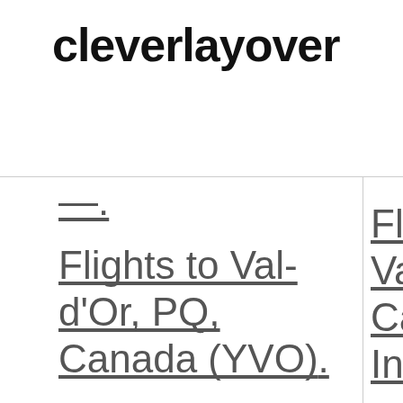cleverlayover
Flights to Val-d'Or, PQ, Canada (YVO)
Flights to Winnipeg, MB, ...
Fli Va Ca Int
Fli Wi